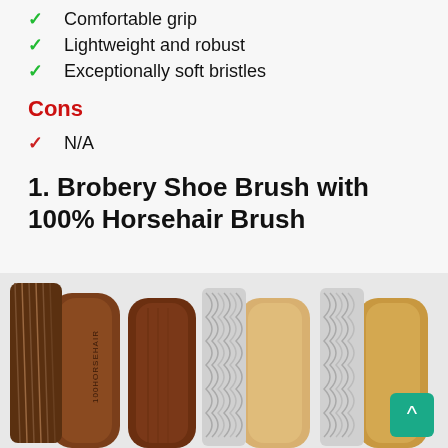Comfortable grip
Lightweight and robust
Exceptionally soft bristles
Cons
N/A
1. Brobery Shoe Brush with 100% Horsehair Brush
[Figure (photo): Four shoe brushes shown side by side — two with natural horsehair bristles on wooden handles (dark wood) and two with white synthetic bristles on lighter wooden handles. Text '100HORSEHAIR' visible on one dark handle.]